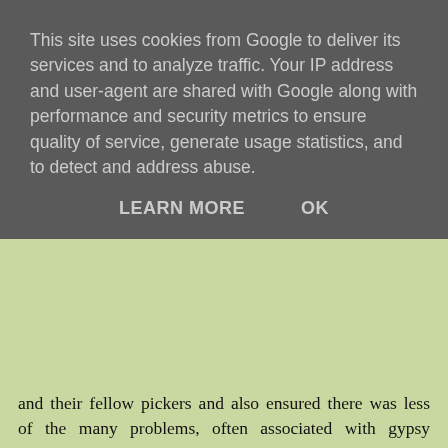This site uses cookies from Google to deliver its services and to analyze traffic. Your IP address and user-agent are shared with Google along with performance and security metrics to ensure quality of service, generate usage statistics, and to detect and address abuse.
LEARN MORE    OK
and their fellow pickers and also ensured there was less likelihood of the many problems, often associated with gypsy groups. It was quite common during that era to read in the local press of mass brawls and fights in local pubs. Indeed, it was then, quite common to see notices placed outside of pubs stating "no travellers or gypsies". Can you imagine the outcry if such a notice were to appear today! It was also not uncommon for all sorts of things from villages to "go missing" when gypsies were passing through. This covered a whole range of items, tools, crops, small machinery, farm animals and pets, especially chickens and dogs. As far as the poultry were concerned it was often only the cock birds that were of interest as this was an era when cock fighting was still fairly common amongst certain gypsy groups. Reports of such events and subsequent prosecutions, would periodically, appear in the various local newspapers of the day.